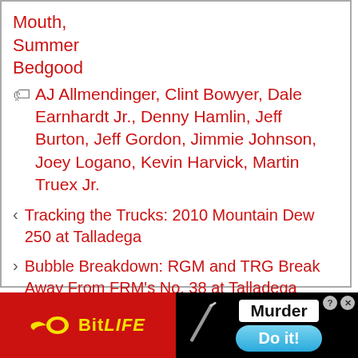Mouth,
Summer
Bedgood
AJ Allmendinger, Clint Bowyer, Dale Earnhardt Jr., Denny Hamlin, Jeff Burton, Jeff Gordon, Jimmie Johnson, Joey Logano, Kevin Harvick, Martin Truex Jr.
Tracking the Trucks: 2010 Mountain Dew 250 at Talladega
Bubble Breakdown: RGM and TRG Break Away From FRM's No. 38 at Talladega
[Figure (screenshot): BitLife app advertisement banner at the bottom with red background, BitLife logo on the left, and Murder/Do it! call-to-action on the right]